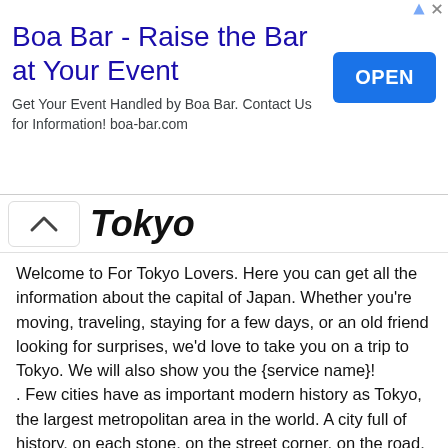[Figure (screenshot): Advertisement banner for Boa Bar with title 'Boa Bar - Raise the Bar at Your Event', subtitle text, and an OPEN button]
Tokyo
Welcome to For Tokyo Lovers. Here you can get all the information about the capital of Japan. Whether you're moving, traveling, staying for a few days, or an old friend looking for surprises, we'd love to take you on a trip to Tokyo. We will also show you the {service name}!
. Few cities have as important modern history as Tokyo, the largest metropolitan area in the world. A city full of history, on each stone, on the street corner, on the road. We are familiar with the history of the city and many people visit it every day.
The splendor of Tokyo is in its past, and to give you a 100% understanding of it, we have provided many articles about the culture of Tokyo so that you can put this city in the palm of your hand, increase. Make the most of us to